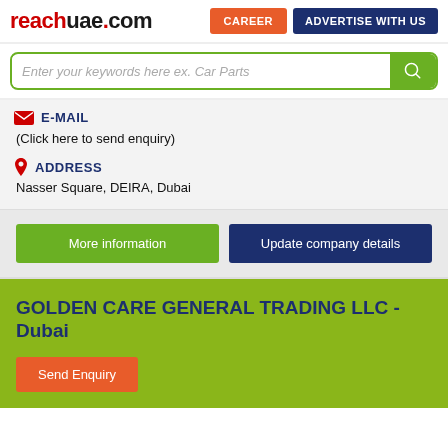reachuae.com | CAREER | ADVERTISE WITH US
[Figure (screenshot): Search bar with green border and search button, placeholder text: Enter your keywords here ex. Car Parts]
E-MAIL
(Click here to send enquiry)
ADDRESS
Nasser Square, DEIRA, Dubai
More information | Update company details
GOLDEN CARE GENERAL TRADING LLC - Dubai
Send Enquiry